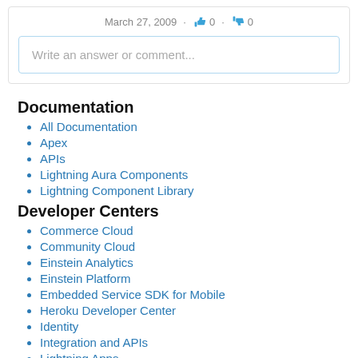March 27, 2009 · 👍 0 · 👎 0
Write an answer or comment...
Documentation
All Documentation
Apex
APIs
Lightning Aura Components
Lightning Component Library
Developer Centers
Commerce Cloud
Community Cloud
Einstein Analytics
Einstein Platform
Embedded Service SDK for Mobile
Heroku Developer Center
Identity
Integration and APIs
Lightning Apps